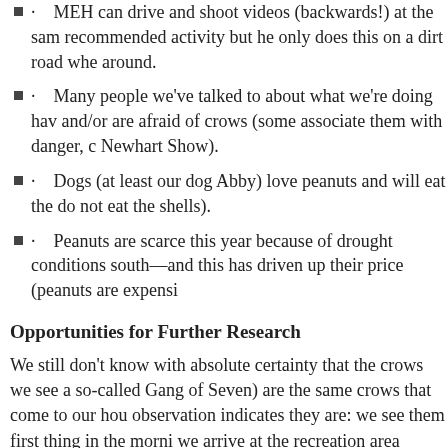· MEH can drive and shoot videos (backwards!) at the same recommended activity but he only does this on a dirt road whe around.
· Many people we've talked to about what we're doing hav and/or are afraid of crows (some associate them with danger, c Newhart Show).
· Dogs (at least our dog Abby) love peanuts and will eat th do not eat the shells).
· Peanuts are scarce this year because of drought conditions south—and this has driven up their price (peanuts are expensi
Opportunities for Further Research
We still don't know with absolute certainty that the crows we see a so-called Gang of Seven) are the same crows that come to our hou observation indicates they are: we see them first thing in the morni we arrive at the recreation area (about 1.5 miles from our house as arrive about 5 minutes after we get there by car. MEH says the onl sure is if we wore a cave man mask and banded them. (Note, if yo we would choose a cave man mask, read about that here.)